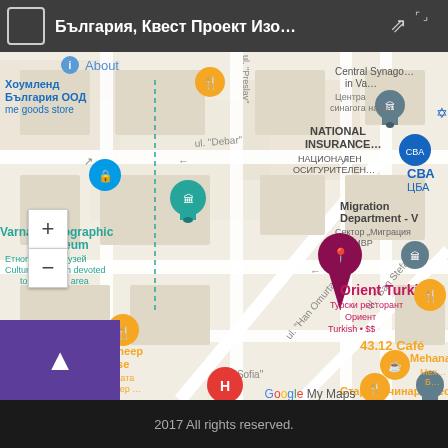[Figure (map): Google My Maps screenshot showing Varna, Bulgaria city center. Visible landmarks include: Varna Ethnographic Museum (teal pin), National Insurance building (grey pin), Orient Turkish restaurant (magenta pin, selected), The Black Sheep Brewhouse (orange food pin), 43.12 Café (orange café pin), Старият чинар Преслав (orange food pin), CBA/ЦБА store (blue pin), Migration Department (grey pin), Central Synagogue area. Street labels include ul. Debar, ul. Han Omurtag, ul. San Stefano, ul. Sofia. Navigation controls, zoom +/-, purple navigation arrow button, and Google My Maps branding visible.]
2017 All rights reserved.